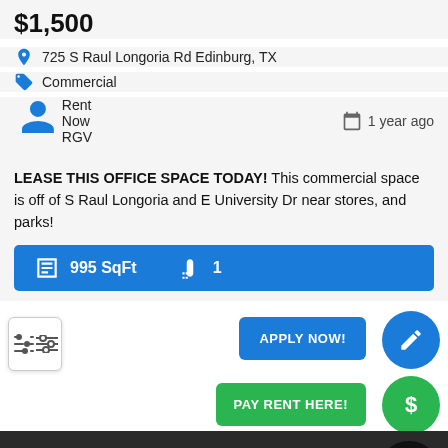$1,500
725 S Raul Longoria Rd Edinburg, TX
Commercial
Rent Now RGV   1 year ago
LEASE THIS OFFICE SPACE TODAY! This commercial space is off of S Raul Longoria and E University Dr near stores, and parks!
995 SqFt   1
APPLY NOW!
PAY RENT HERE!
CALL NOW
FIND US